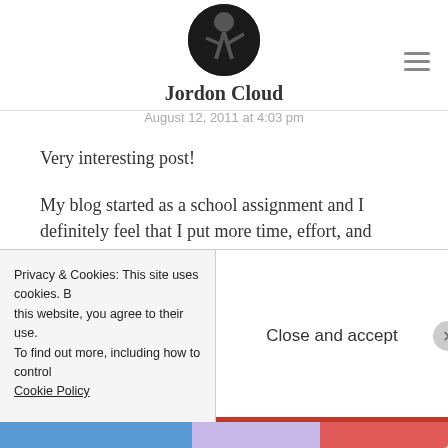[Figure (photo): Circular avatar photo of a person dancing or performing, dark background]
Jordon Cloud
August 12, 2011 at 4:03 pm
Very interesting post!
My blog started as a school assignment and I definitely feel that I put more time, effort, and thought toward it than any homework that I’ve ever had. I continued writing the blog after the term ended because it ended up developing an audience (other than my professor) throughout the process of sharing and being involved in
Privacy & Cookies: This site uses cookies. By continuing to use this website, you agree to their use. To find out more, including how to control cookies, see here:
Cookie Policy
Close and accept